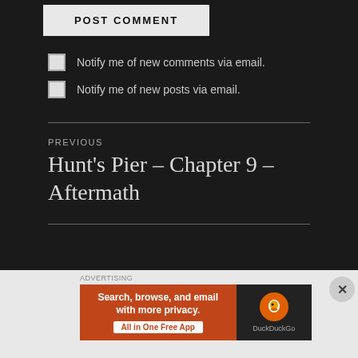POST COMMENT
Notify me of new comments via email.
Notify me of new posts via email.
PREVIOUS
Hunt's Pier – Chapter 9 – Aftermath
[Figure (infographic): DuckDuckGo advertisement banner: orange section with text 'Search, browse, and email with more privacy. All in One Free App' and dark section with DuckDuckGo logo]